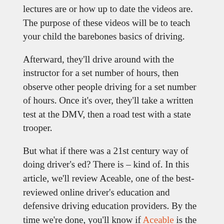lectures are or how up to date the videos are. The purpose of these videos will be to teach your child the barebones basics of driving.
Afterward, they'll drive around with the instructor for a set number of hours, then observe other people driving for a set number of hours. Once it's over, they'll take a written test at the DMV, then a road test with a state trooper.
But what if there was a 21st century way of doing driver's ed? There is – kind of. In this article, we'll review Aceable, one of the best-reviewed online driver's education and defensive driving education providers. By the time we're done, you'll know if Aceable is the right service for you or your child.
Get Special Low Pricing on Aceable Today »